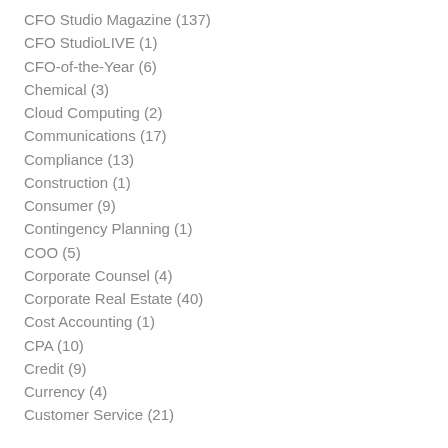CFO Studio Magazine (137)
CFO StudioLIVE (1)
CFO-of-the-Year (6)
Chemical (3)
Cloud Computing (2)
Communications (17)
Compliance (13)
Construction (1)
Consumer (9)
Contingency Planning (1)
COO (5)
Corporate Counsel (4)
Corporate Real Estate (40)
Cost Accounting (1)
CPA (10)
Credit (9)
Currency (4)
Customer Service (21)